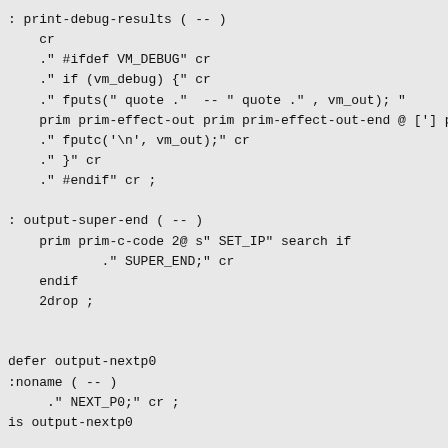: print-debug-results ( -- )
    cr
    ." #ifdef VM_DEBUG" cr
    ." if (vm_debug) {" cr
    ." fputs(" quote ."  -- " quote ." , vm_out); "
    prim prim-effect-out prim prim-effect-out-end @ ['] p
    ." fputc('\n', vm_out);" cr
    ." }" cr
    ." #endif" cr ;

: output-super-end ( -- )
    prim prim-c-code 2@ s" SET_IP" search if
            ." SUPER_END;" cr
    endif
    2drop ;


defer output-nextp0
:noname ( -- )
     ." NEXT_P0;" cr ;
is output-nextp0

defer output-nextp1
:noname ( -- )
     ." NEXT_P1;" cr ;
is output-nextp1

: output-nextp2 ( -- )
     ." NEXT_P2;" cr ;